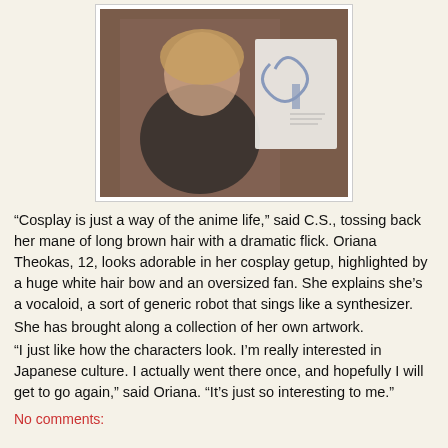[Figure (photo): A young girl with a bob haircut wearing a black long-sleeve top, holding up a piece of paper with anime artwork drawn on it showing a character with a large loop shape. Background is brown.]
“Cosplay is just a way of the anime life,” said C.S., tossing back her mane of long brown hair with a dramatic flick. Oriana Theokas, 12, looks adorable in her cosplay getup, highlighted by a huge white hair bow and an oversized fan. She explains she’s a vocaloid, a sort of generic robot that sings like a synthesizer.
She has brought along a collection of her own artwork.
“I just like how the characters look. I’m really interested in Japanese culture. I actually went there once, and hopefully I will get to go again,” said Oriana. “It’s just so interesting to me.”
No comments: